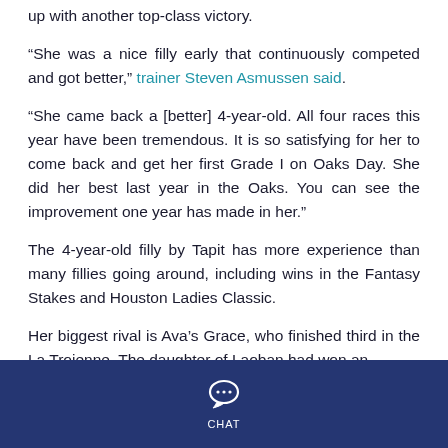up with another top-class victory.
“She was a nice filly early that continuously competed and got better,” trainer Steven Asmussen said.
“She came back a [better] 4-year-old. All four races this year have been tremendous. It is so satisfying for her to come back and get her first Grade I on Oaks Day. She did her best last year in the Oaks. You can see the improvement one year has made in her.”
The 4-year-old filly by Tapit has more experience than many fillies going around, including wins in the Fantasy Stakes and Houston Ladies Classic.
Her biggest rival is Ava’s Grace, who finished third in the La Troienne. The daughter of Laoban had won an allowance level race prior so it was a massive rise in
CHAT